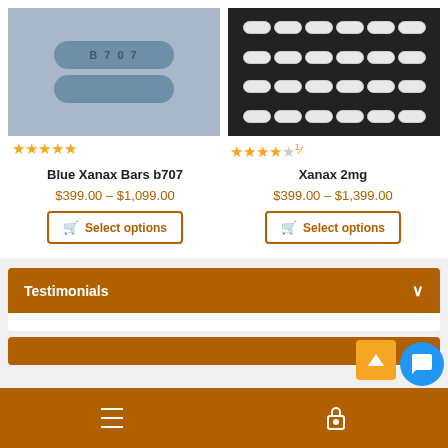[Figure (photo): Photo of two blue Xanax bars (B707) shown front and back on grey background]
[Figure (photo): Photo of many white capsules/caplets scattered on dark background]
★★★★★
★★★★½
Blue Xanax Bars b707
Xanax 2mg
$399.00 – $1,099.00
$399.00 – $1,399.00
Select options
Select options
Testimonials
Navigation bar with hamburger menu and lock icon